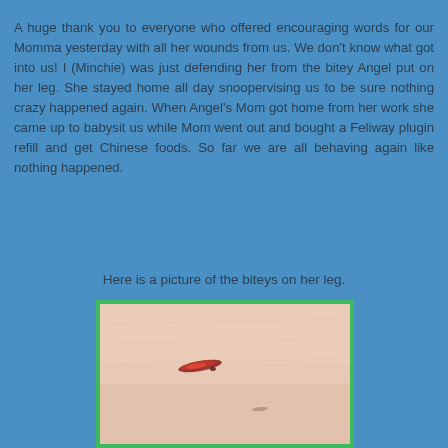A huge thank you to everyone who offered encouraging words for our Momma yesterday with all her wounds from us. We don't know what got into us! I (Minchie) was just defending her from the bitey Angel put on her leg. She stayed home all day snoopervising us to be sure nothing crazy happened again. When Angel's Mom got home from her work she came up to babysit us while Mom went out and bought a Feliway plugin refill and get Chinese foods. So far we are all behaving again like nothing happened.
Here is a picture of the biteys on her leg.
[Figure (photo): Close-up photo of a human leg with a small bite wound/scratch showing a red mark on pale skin, framed with a green border.]